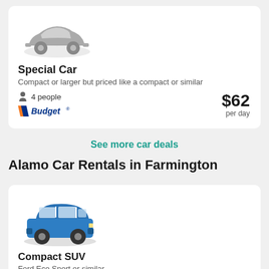[Figure (illustration): Grayscale silhouette illustration of a compact car]
Special Car
Compact or larger but priced like a compact or similar
4 people
[Figure (logo): Budget car rental logo with orange/red slash mark]
$62 per day
See more car deals
Alamo Car Rentals in Farmington
[Figure (photo): Blue Ford EcoSport compact SUV]
Compact SUV
Ford Eco Sport or similar
5 people
[Figure (logo): Alamo car rental logo green background]
$61 per day